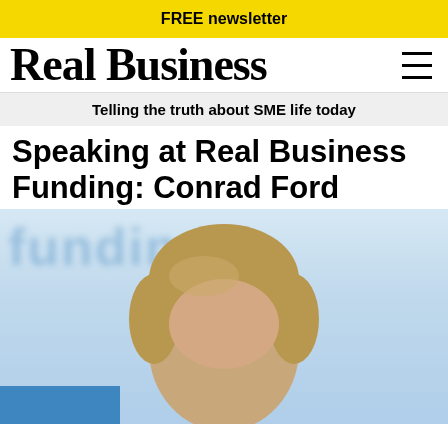FREE newsletter
Real Business
Telling the truth about SME life today
Speaking at Real Business Funding: Conrad Ford
[Figure (photo): Portrait photo of Conrad Ford, a blonde man, cropped to show the top of his head and face, against a blurred blue background with 'funding' text visible.]